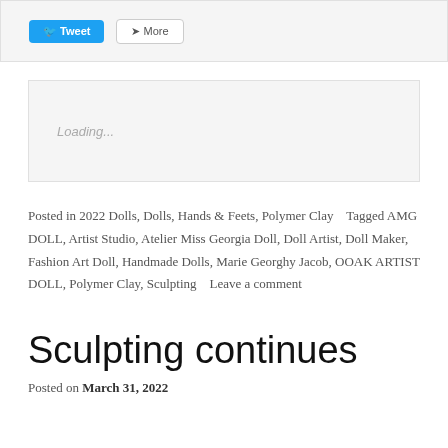[Figure (screenshot): Social media share buttons: Tweet button (blue) and More button (outlined)]
[Figure (screenshot): Loading placeholder box with 'Loading...' text in grey italic]
Posted in 2022 Dolls, Dolls, Hands & Feets, Polymer Clay   Tagged AMG DOLL, Artist Studio, Atelier Miss Georgia Doll, Doll Artist, Doll Maker, Fashion Art Doll, Handmade Dolls, Marie Georghy Jacob, OOAK ARTIST DOLL, Polymer Clay, Sculpting   Leave a comment
Sculpting continues
Posted on March 31, 2022